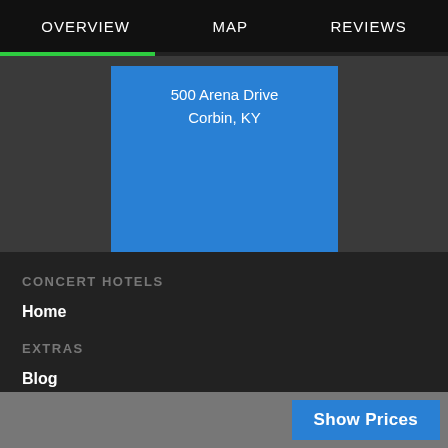OVERVIEW   MAP   REVIEWS
[Figure (map): Blue map placeholder showing address: 500 Arena Drive, Corbin, KY]
CONCERT HOTELS
Home
EXTRAS
Blog
Show Prices